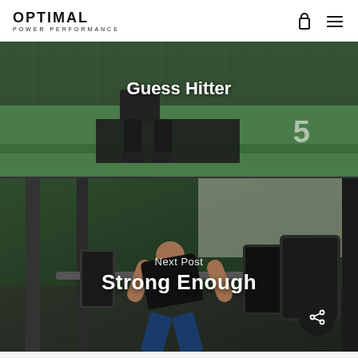OPTIMAL POWER PERFORMANCE
[Figure (photo): Batting cage photo showing a baseball player's legs/feet standing on a black mat on green turf, with white netting visible. Text overlay reads 'Guess Hitter'.]
Guess Hitter
[Figure (photo): Gym photo showing a person performing a barbell squat in a power rack. Large weight plates visible on both sides of the bar. Green turf/field visible in background through the rack. Text overlays read 'Next Post' and 'Strong Enough'. A share button is visible in the lower right.]
Next Post
Strong Enough